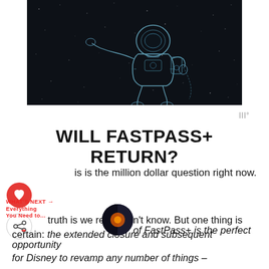[Figure (illustration): Dark space background with a line-art illustration of an astronaut floating/drifting in space, drawn in white/light blue lines on a dark starfield background]
WILL FASTPASS+ RETURN?
This is the million dollar question right now.
The truth is we really don't know. But one thing is certain: the extended closure and subsequent loss of FastPass+ is the perfect opportunity for Disney to revamp any number of things –